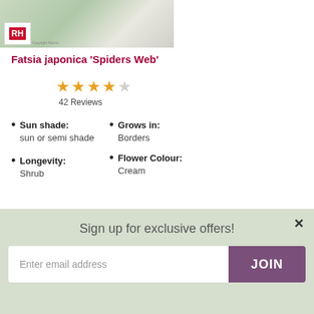[Figure (photo): Photo of Fatsia japonica 'Spiders Web' plant in a pot with green and white variegated leaves, with a small logo/watermark in the bottom left corner]
Fatsia japonica 'Spiders Web'
[Figure (other): Star rating: 4 out of 5 stars, 42 Reviews]
Sun shade: sun or semi shade
Grows in: Borders
Flower Colour: Cream
Longevity: Shrub
Sign up for exclusive offers!
Enter email address
JOIN